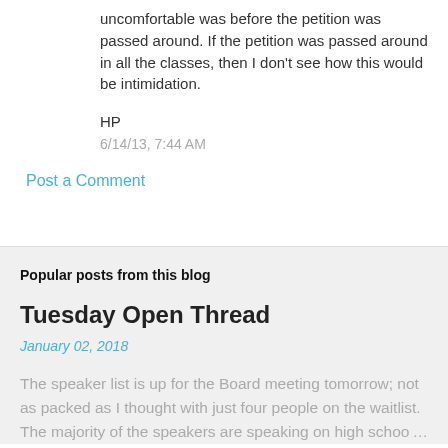uncomfortable was before the petition was passed around. If the petition was passed around in all the classes, then I don't see how this would be intimidation.
HP
6/14/13, 7:44 AM
Post a Comment
Popular posts from this blog
Tuesday Open Thread
January 02, 2018
The speaker list is up for the Board meeting tomorrow; not as packed as I thought with just four people on the waitlist. The majority of the speakers are speaking on high school